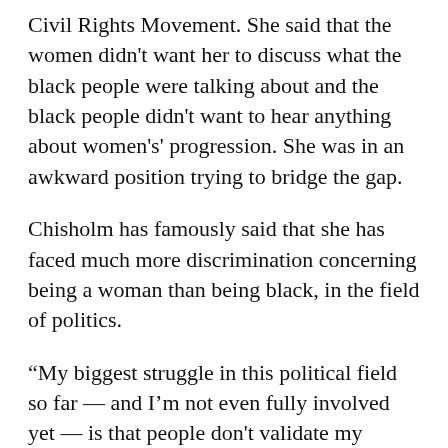Civil Rights Movement. She said that the women didn't want her to discuss what the black people were talking about and the black people didn't want to hear anything about women's' progression. She was in an awkward position trying to bridge the gap.
Chisholm has famously said that she has faced much more discrimination concerning being a woman than being black, in the field of politics.
“My biggest struggle in this political field so far — and I’m not even fully involved yet — is that people don't validate my opinions, because I'm a woman,” said Hall. “They feel like ‘Well what do I know because I'm a woman (and) why does my opinion matter’ — because people believe that women act out of emotion—so I definitely can identify with